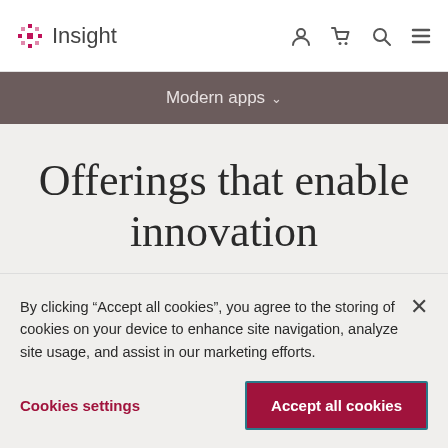Insight
Modern apps
Offerings that enable innovation
By clicking “Accept all cookies”, you agree to the storing of cookies on your device to enhance site navigation, analyze site usage, and assist in our marketing efforts.
Cookies settings
Accept all cookies